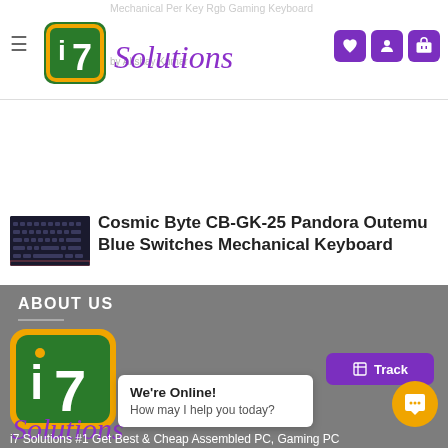i7 Solutions — navigation header with hamburger menu, logo, and icons (wishlist, account, cart)
Mechanical Per Key Rgb Gaming Keyboard
[Figure (screenshot): Photo of a dark mechanical keyboard (Cosmic Byte CB-GK-25 Pandora)]
Cosmic Byte CB-GK-25 Pandora Outemu Blue Switches Mechanical Keyboard
★★★★★
by Akshay Kumar
ABOUT US
[Figure (logo): i7 Solutions large logo in green and orange square with purple cursive text 'Solutions']
We're Online!
How may I help you today?
i7 Solutions #1 Get Best & Cheap Assembled PC, Gaming PC